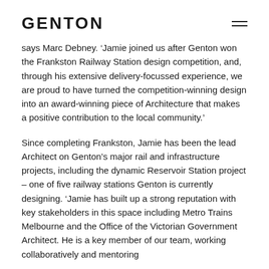GENTON
says Marc Debney. ‘Jamie joined us after Genton won the Frankston Railway Station design competition, and, through his extensive delivery-focussed experience, we are proud to have turned the competition-winning design into an award-winning piece of Architecture that makes a positive contribution to the local community.’
Since completing Frankston, Jamie has been the lead Architect on Genton’s major rail and infrastructure projects, including the dynamic Reservoir Station project – one of five railway stations Genton is currently designing. ‘Jamie has built up a strong reputation with key stakeholders in this space including Metro Trains Melbourne and the Office of the Victorian Government Architect. He is a key member of our team, working collaboratively and mentoring